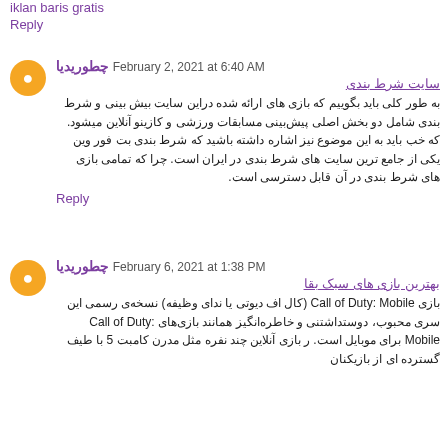iklan baris gratis
Reply
چطوریدیا February 2, 2021 at 6:40 AM
سایت شرط بندی
به طور کلی باید بگوییم که بازی های ارائه شده دراین سایت بیش بینی و شرط بندی شامل دو بخش اصلی پیش‌بینی مسابقات ورزشی و کازینو آنلاین میشود. که خب باید به این موضوع نیز اشاره داشته باشید که شرط بندی بت فور وین یکی از جامع ترین سایت های شرط بندی در ایران است. چرا که تمامی بازی های شرط بندی در آن قابل دسترسی است.
Reply
چطوریدیا February 6, 2021 at 1:38 PM
بهترین بازی های سبک بقا
بازی Call of Duty: Mobile (کال اف دیوتی یا ندای وظیفه) نسخه‌ی رسمی این سری محبوب، دوستداشتنی و خاطره‌انگیز همانند بازی‌های Call of Duty: Mobile برای موبایل است. ر بازی آنلاین چند نفره مثل مدرن کامبت 5 با طیف گسترده ای از بازیکنان